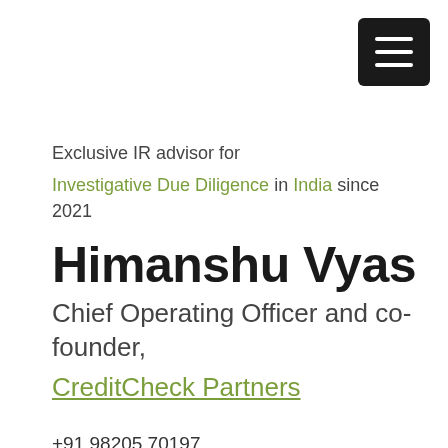[Figure (other): Hamburger menu button — black rounded rectangle with three white horizontal bars]
Exclusive IR advisor for
Investigative Due Diligence in India since 2021
Himanshu Vyas
Chief Operating Officer and co-founder, CreditCheck Partners
+91 98205 70197
www.creditcheckpartners.com